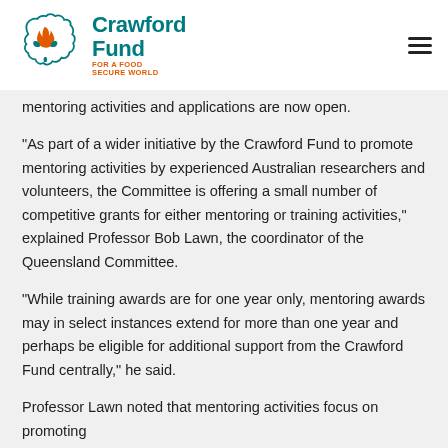Crawford Fund — For a Food Secure World
mentoring activities and applications are now open.
“As part of a wider initiative by the Crawford Fund to promote mentoring activities by experienced Australian researchers and volunteers, the Committee is offering a small number of competitive grants for either mentoring or training activities,” explained Professor Bob Lawn, the coordinator of the Queensland Committee.
“While training awards are for one year only, mentoring awards may in select instances extend for more than one year and perhaps be eligible for additional support from the Crawford Fund centrally,” he said.
Professor Lawn noted that mentoring activities focus on promoting